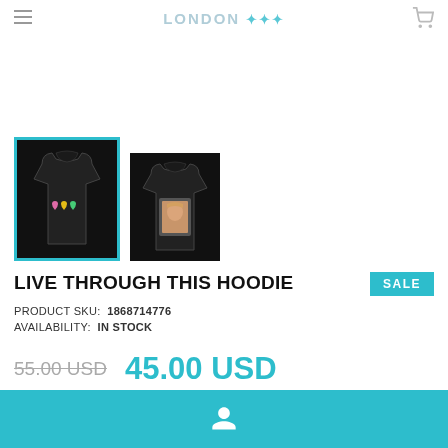LONDON [logo]
[Figure (photo): Two black hoodies displayed side by side. Left hoodie (selected, with teal border) shows front with three candy heart graphics. Right hoodie shows back with a printed photo graphic.]
LIVE THROUGH THIS HOODIE
PRODUCT SKU: 1868714776
AVAILABILITY: IN STOCK
55.00 USD  45.00 USD